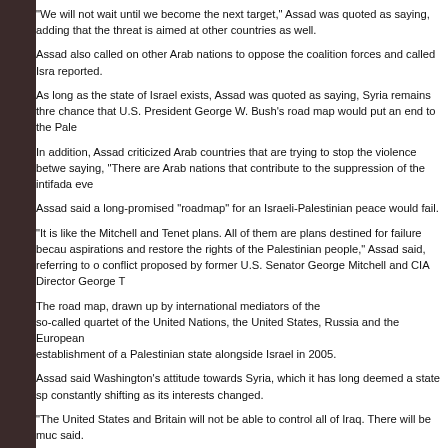"We will not wait until we become the next target," Assad was quoted as saying, adding that the threat is aimed at other countries as well.
Assad also called on other Arab nations to oppose the coalition forces and called Isra... reported.
As long as the state of Israel exists, Assad was quoted as saying, Syria remains thre... chance that U.S. President George W. Bush's road map would put an end to the Pale...
In addition, Assad criticized Arab countries that are trying to stop the violence betwe... saying, "There are Arab nations that contribute to the suppression of the intifada eve...
Assad said a long-promised "roadmap" for an Israeli-Palestinian peace would fail.
"It is like the Mitchell and Tenet plans. All of them are plans destined for failure becau... aspirations and restore the rights of the Palestinian people," Assad said, referring to o... conflict proposed by former U.S. Senator George Mitchell and CIA Director George T...
The road map, drawn up by international mediators of the so-called quartet of the United Nations, the United States, Russia and the European ... establishment of a Palestinian state alongside Israel in 2005.
Assad said Washington's attitude towards Syria, which it has long deemed a state sp... constantly shifting as its interests changed.
"The United States and Britain will not be able to control all of Iraq. There will be muc... said.
"But if the American-British designs succeed - and we hope they do not succeed and...